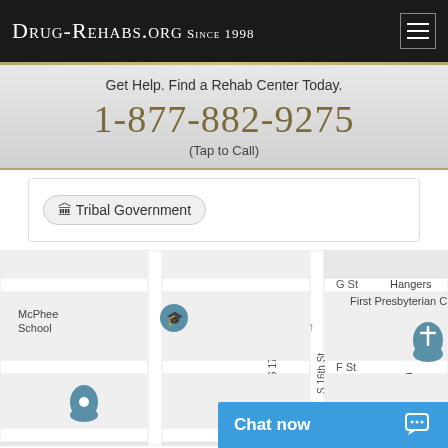Drug-Rehabs.org Since 1998
Get Help. Find a Rehab Center Today.
1-877-882-9275
(Tap to Call)
🏛 Tribal Government
[Figure (map): Street map showing McPhee School, First Presbyterian Church, Hangers, and surrounding streets including G St, F St, E St, S 16th St, S 17th St, S 19th St, with location pins.]
Chat now